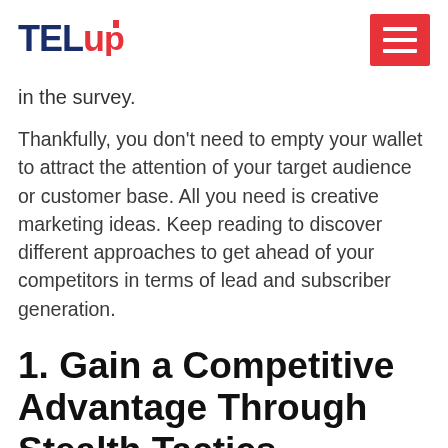TELup [logo with navigation menu button]
in the survey.
Thankfully, you don't need to empty your wallet to attract the attention of your target audience or customer base. All you need is creative marketing ideas. Keep reading to discover different approaches to get ahead of your competitors in terms of lead and subscriber generation.
1. Gain a Competitive Advantage Through Stealth Tactics